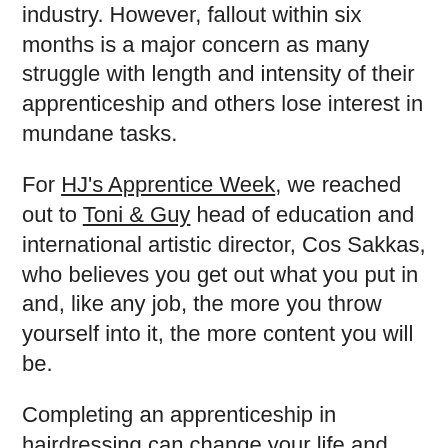industry. However, fallout within six months is a major concern as many struggle with length and intensity of their apprenticeship and others lose interest in mundane tasks.
For HJ's Apprentice Week, we reached out to Toni & Guy head of education and international artistic director, Cos Sakkas, who believes you get out what you put in and, like any job, the more you throw yourself into it, the more content you will be.
Completing an apprenticeship in hairdressing can change your life and open up a world of opportunities.
“No one says being an apprentice is easy, but follow some simple rules and you will gain so much more than someone who does the bare minimum,” says Cos. “If